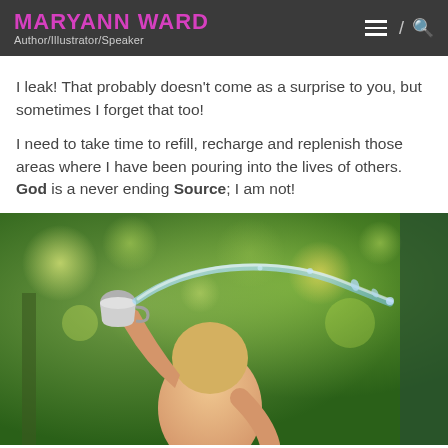MARYANN WARD
Author/Illustrator/Speaker
I leak! That probably doesn't come as a surprise to you, but sometimes I forget that too!
I need to take time to refill, recharge and replenish those areas where I have been pouring into the lives of others. God is a never ending Source; I am not!
[Figure (photo): A baby/toddler seen from behind, holding up a metal cup/bowl from which a stream of water is arcing outward, outdoors with green trees and bokeh background.]